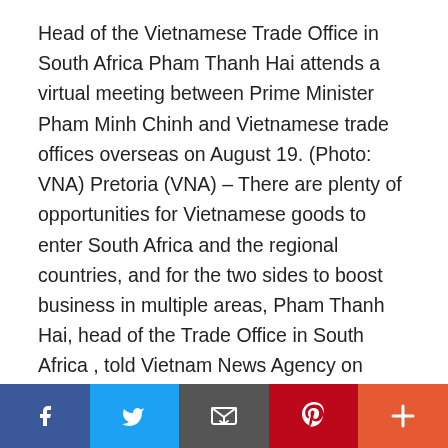Head of the Vietnamese Trade Office in South Africa Pham Thanh Hai attends a virtual meeting between Prime Minister Pham Minh Chinh and Vietnamese trade offices overseas on August 19. (Photo: VNA) Pretoria (VNA) – There are plenty of opportunities for Vietnamese goods to enter South Africa and the regional countries, and for the two sides to boost business in multiple areas, Pham Thanh Hai, head of the Trade Office in South Africa , told Vietnam News Agency on August 19. South Africa has been the African country with the largest two-way trade volume with Vietnam, he said on the sidelines of a virtual meeting between Prime Minister Pham Minh Chinh and Vietnamese trade
Social share bar: Facebook, Twitter, Email, Pinterest, More